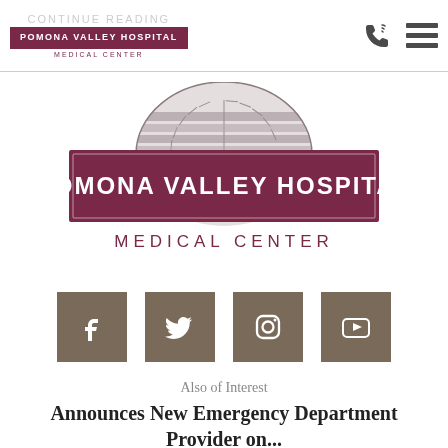CONTINUE READING | POMONA VALLEY HOSPITAL MEDICAL CENTER
[Figure (logo): Pomona Valley Hospital Medical Center logo — large centered version with semicircle emblem above maroon banner reading POMONA VALLEY HOSPITAL and MEDICAL CENTER below]
[Figure (other): Four social media icons in brown/taupe squares: Facebook, Twitter, Instagram, YouTube]
Also of Interest
Announces New Emergency Department Provider on...